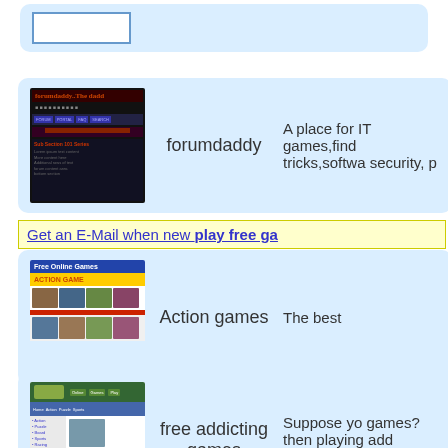[Figure (screenshot): Top stub row with a bordered thumbnail placeholder on a light blue card, partially visible at top of page]
[Figure (screenshot): forumdaddy website screenshot showing dark themed forum page with red/orange text]
forumdaddy
A place for IT games,find tricks,softwa security, p
Get an E-Mail when new play free ga
[Figure (screenshot): Action games website screenshot with blue header, yellow ACTION GAME bar, grid of game thumbnails]
Action games
The best
[Figure (screenshot): Free addicting games website screenshot with green header, blue navigation, sidebar links, game images]
free addicting games
Suppose yo games? then playing add number